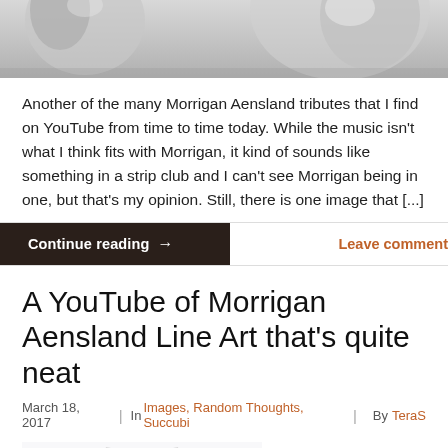[Figure (photo): Partial top image, cropped — appears to be a grayscale/silver colored figure or object, bottom portion visible]
Another of the many Morrigan Aensland tributes that I find on YouTube from time to time today. While the music isn't what I think fits with Morrigan, it kind of sounds like something in a strip club and I can't see Morrigan being in one, but that's my opinion. Still, there is one image that [...]
Continue reading →
Leave comment
A YouTube of Morrigan Aensland Line Art that's quite neat
March 18, 2017  |  In Images, Random Thoughts, Succubi  |  By TeraS
[Figure (illustration): Pencil/line art sketch illustration of Morrigan Aensland character with long flowing hair]